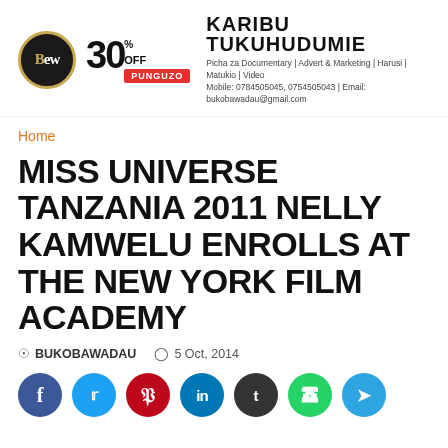[Figure (logo): BW logo circle with 30% OFF PUNGUZO discount badge and KARIBU TUKUHUDUMIE brand info]
Home
MISS UNIVERSE TANZANIA 2011 NELLY KAMWELU ENROLLS AT THE NEW YORK FILM ACADEMY
BUKOBAWADAU  5 Oct, 2014
[Figure (infographic): Social media share buttons: Facebook, Twitter, Pinterest, LinkedIn, Tumblr, WhatsApp, Telegram]